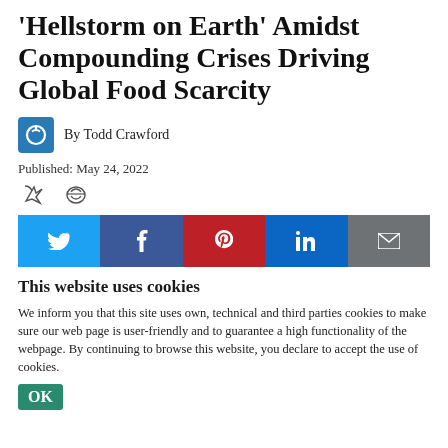'Hellstorm on Earth' Amidst Compounding Crises Driving Global Food Scarcity
By Todd Crawford
Published: May 24, 2022
[Figure (other): Social share icons: Twitter, Facebook, Pinterest, LinkedIn, Email buttons]
This website uses cookies
We inform you that this site uses own, technical and third parties cookies to make sure our web page is user-friendly and to guarantee a high functionality of the webpage. By continuing to browse this website, you declare to accept the use of cookies.
OK